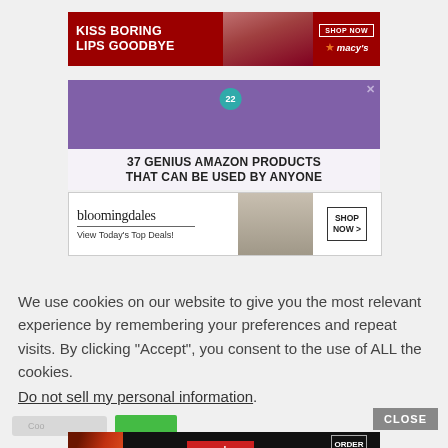[Figure (photo): Macy's advertisement banner: red background with woman's lips wearing red lipstick, text 'KISS BORING LIPS GOODBYE', 'SHOP NOW' button, and Macy's star logo]
[Figure (photo): BuzzFeed/Amazon advertisement: purple headphones background with badge '22', white text overlay '37 GENIUS AMAZON PRODUCTS THAT CAN BE USED BY ANYONE', close X button]
[Figure (photo): Bloomingdale's advertisement: white background with Bloomingdale's logo, 'View Today's Top Deals!' tagline, woman with large hat, 'SHOP NOW >' button]
We use cookies on our website to give you the most relevant experience by remembering your preferences and repeat visits. By clicking “Accept”, you consent to the use of ALL the cookies.
Do not sell my personal information.
CLOSE
[Figure (photo): Seamless food delivery advertisement: dark background with pizza image on left, Seamless logo in red box, 'ORDER NOW' button with border]